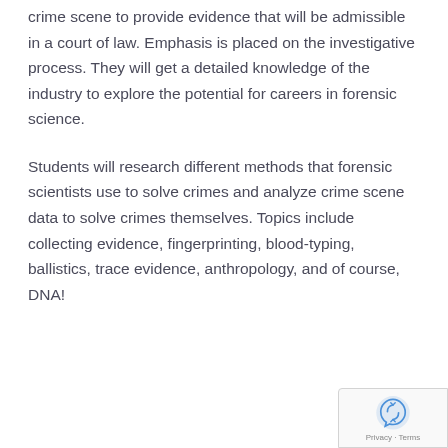crime scene to provide evidence that will be admissible in a court of law. Emphasis is placed on the investigative process. They will get a detailed knowledge of the industry to explore the potential for careers in forensic science.
Students will research different methods that forensic scientists use to solve crimes and analyze crime scene data to solve crimes themselves. Topics include collecting evidence, fingerprinting, blood-typing, ballistics, trace evidence, anthropology, and of course, DNA!